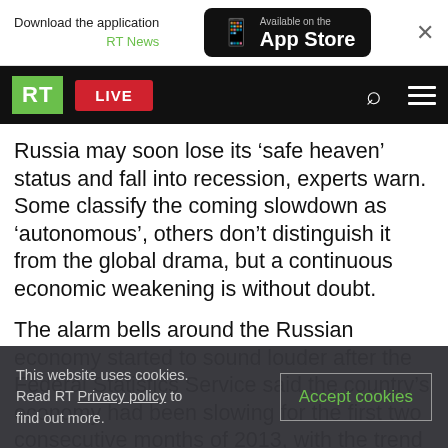[Figure (screenshot): RT News app download banner with App Store button and close X]
[Figure (screenshot): RT news website navigation bar with RT logo, LIVE button, search and menu icons]
Russia may soon lose its ‘safe heaven’ status and fall into recession, experts warn. Some classify the coming slowdown as ‘autonomous’, others don’t distinguish it from the global drama, but a continuous economic weakening is without doubt.
The alarm bells around the Russian economy started to sound louder after the Federal Statistics Service said the country’s economy had been slowing for the first two consecutive months of 2013, with the trend largely expected to develop.
This website uses cookies. Read RT Privacy policy to find out more. Accept cookies